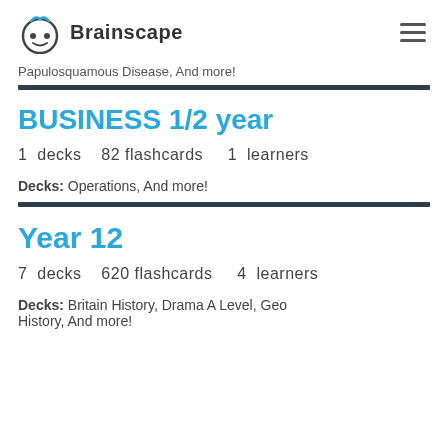Brainscape
Papulosquamous Disease, And more!
BUSINESS 1/2 year
1 decks   82 flashcards   1 learners
Decks: Operations, And more!
Year 12
7 decks   620 flashcards   4 learners
Decks: Britain History, Drama A Level, Geo History, And more!